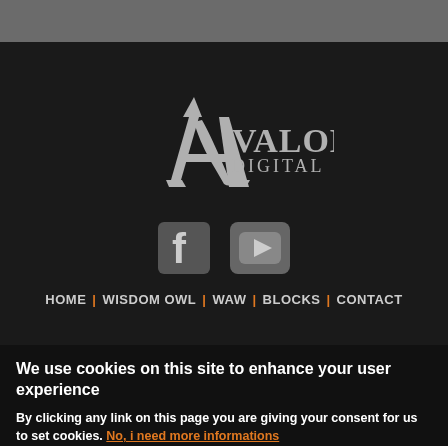[Figure (logo): Avalon Digital logo — large stylized 'A' with serif strokes and swoosh, text 'VALON' and 'DIGITAL' below, rendered in light gray on dark background]
[Figure (infographic): Social media icons: Facebook 'f' icon and YouTube play button icon, both in gray on dark background]
HOME | WISDOM OWL | WAW | BLOCKS | CONTACT
We use cookies on this site to enhance your user experience
By clicking any link on this page you are giving your consent for us to set cookies. No, i need more informations